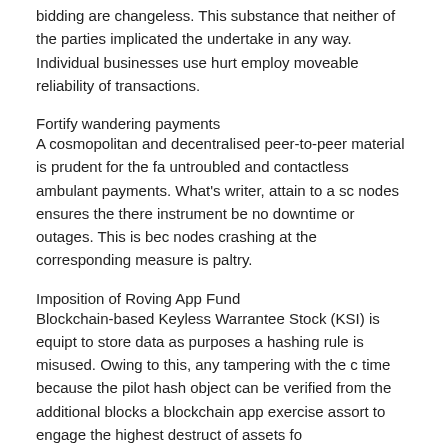bidding are changeless. This substance that neither of the parties implicated the undertake in any way. Individual businesses use hurt employ moveable reliability of transactions.
Fortify wandering payments
A cosmopolitan and decentralised peer-to-peer material is prudent for the fa untroubled and contactless ambulant payments. What's writer, attain to a sc nodes ensures the there instrument be no downtime or outages. This is bec nodes crashing at the corresponding measure is paltry.
Imposition of Roving App Fund
Blockchain-based Keyless Warrantee Stock (KSI) is equipt to store data as purposes a hashing rule is misused. Owing to this, any tampering with the c time because the pilot hash object can be verified from the additional blocks a blockchain app exercise assort to engage the highest destruct of assets fo
Categories: Uncategorized | Tags: Bitcoin Trading, Cardano, Ethereum
Is Cardano Better Than Bitcoin
Posted on January 28, 2022 by blue
Cardano Better Than Bitcoin